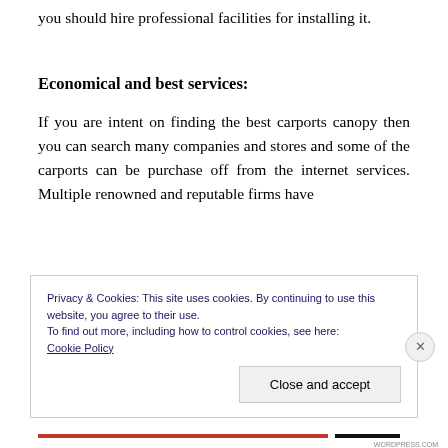you should hire professional facilities for installing it.
Economical and best services:
If you are intent on finding the best carports canopy then you can search many companies and stores and some of the carports can be purchase off from the internet services. Multiple renowned and reputable firms have
Privacy & Cookies: This site uses cookies. By continuing to use this website, you agree to their use.
To find out more, including how to control cookies, see here:
Cookie Policy
Close and accept